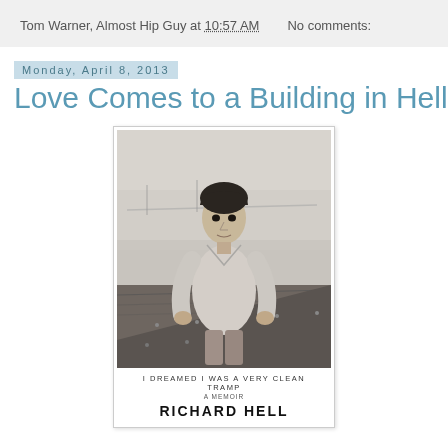Tom Warner, Almost Hip Guy at 10:57 AM   No comments:
Monday, April 8, 2013
Love Comes to a Building in Hell
[Figure (photo): Book cover of 'I Dreamed I Was a Very Clean Tramp: A Memoir' by Richard Hell, showing a black and white photo of a young man in a light jacket leaning on a surface outdoors.]